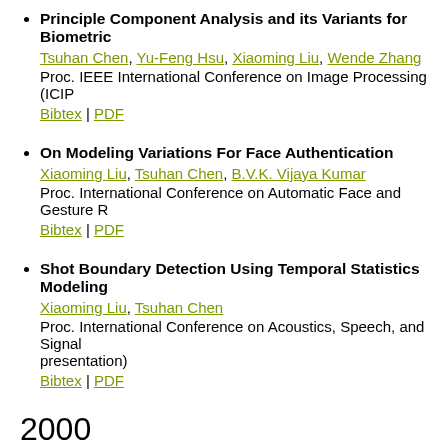Principle Component Analysis and its Variants for Biometric... Tsuhan Chen, Yu-Feng Hsu, Xiaoming Liu, Wende Zhang. Proc. IEEE International Conference on Image Processing (ICIP... Bibtex | PDF
On Modeling Variations For Face Authentication. Xiaoming Liu, Tsuhan Chen, B.V.K. Vijaya Kumar. Proc. International Conference on Automatic Face and Gesture R... Bibtex | PDF
Shot Boundary Detection Using Temporal Statistics Modeling... Xiaoming Liu, Tsuhan Chen. Proc. International Conference on Acoustics, Speech, and Signal... presentation). Bibtex | PDF
2000
A Video Based Human Skeleton Extraction Technique For An... Xiaoming Liu, Yueting Zhuang, Yunhe Pan. Journal of Computer Research & Development, Vol. 37, No. 4, pp... Bibtex